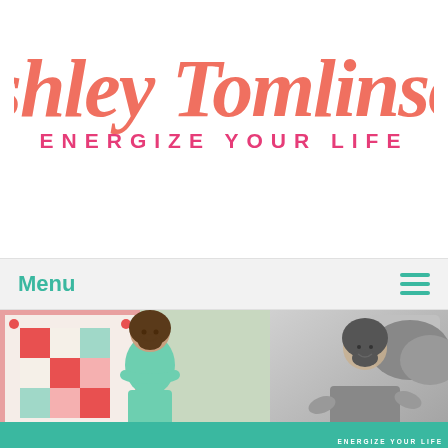[Figure (logo): Ashley Tomlinson Energize Your Life logo — cursive coral/salmon script name with hot-pink uppercase tagline beneath]
Menu
[Figure (photo): Two side-by-side photos: left is a color photo of a woman in a teal top smiling with arms crossed, standing in front of a colorful quilt; right is a black-and-white photo of a woman smiling outdoors. A coral circular overlay logo reading 'Ashley Tomlinson Energize Your Life' is centered between the photos. A teal banner runs across the bottom.]